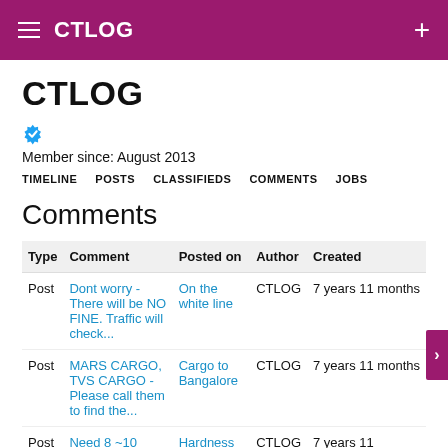CTLOG
CTLOG
Member since: August 2013
TIMELINE  POSTS  CLASSIFIEDS  COMMENTS  JOBS
Comments
| Type | Comment | Posted on | Author | Created |
| --- | --- | --- | --- | --- |
| Post | Dont worry - There will be NO FINE. Traffic will check... | On the white line | CTLOG | 7 years 11 months |
| Post | MARS CARGO, TVS CARGO - Please call them to find the... | Cargo to Bangalore | CTLOG | 7 years 11 months |
| Post | Need 8 ~10 years experience in | Hardness and | CTLOG | 7 years 11 |